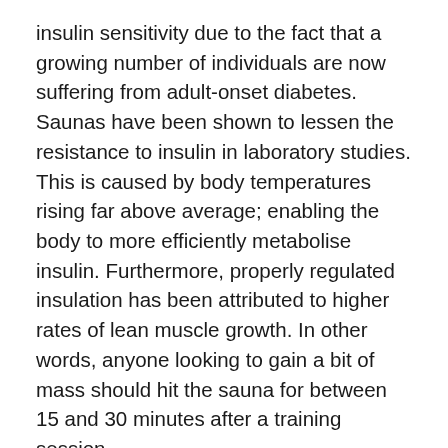insulin sensitivity due to the fact that a growing number of individuals are now suffering from adult-onset diabetes. Saunas have been shown to lessen the resistance to insulin in laboratory studies. This is caused by body temperatures rising far above average; enabling the body to more efficiently metabolise insulin. Furthermore, properly regulated insulation has been attributed to higher rates of lean muscle growth. In other words, anyone looking to gain a bit of mass should hit the sauna for between 15 and 30 minutes after a training session.
All About Detox Benefits
Thanks to the information already presented above, it only stands to reason that regular sauna sessions can help your body to detoxify in a natural manner. Sweating is the body's method of eliminating toxins from its...